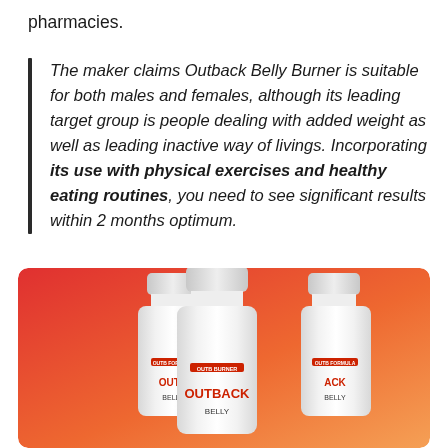pharmacies.
The maker claims Outback Belly Burner is suitable for both males and females, although its leading target group is people dealing with added weight as well as leading inactive way of livings. Incorporating its use with physical exercises and healthy eating routines, you need to see significant results within 2 months optimum.
[Figure (photo): Three white supplement bottles labeled 'Outback Belly' against a red-to-orange gradient background. The labels show 'OUTBACK BELLY' in red bold text.]